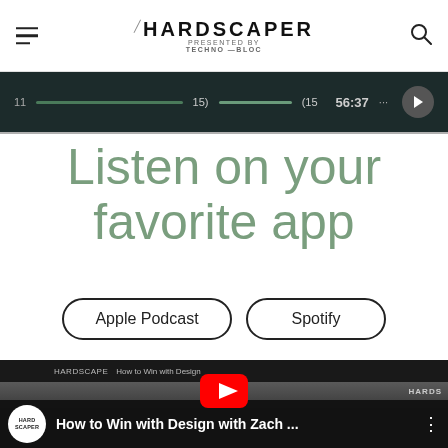HARDSCAPER presented by TECHNO-BLOC
[Figure (screenshot): Dark podcast player bar showing time 56:37 and playback controls]
Listen on your favorite app
Apple Podcast   Spotify
[Figure (screenshot): YouTube video thumbnail showing 'How to Win with Design with Zach ...' with two people in the frame and HARDSCAPER branding]